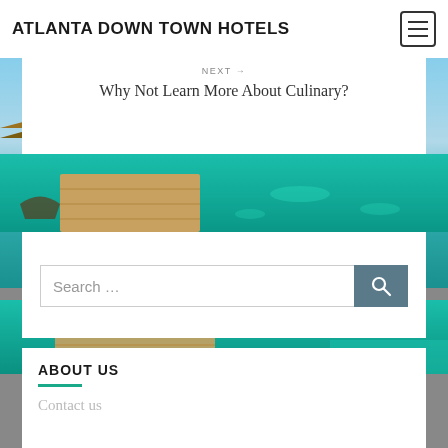ATLANTA DOWN TOWN HOTELS
NEXT →
Why Not Learn More About Culinary?
[Figure (photo): Overwater bungalows with thatched roofs and turquoise tropical water]
Comments are closed.
[Figure (photo): Wooden boardwalk pier over turquoise ocean water]
[Figure (screenshot): Search bar with magnifier button]
[Figure (photo): Wooden pier over turquoise water, partial view]
ABOUT US
Contact us